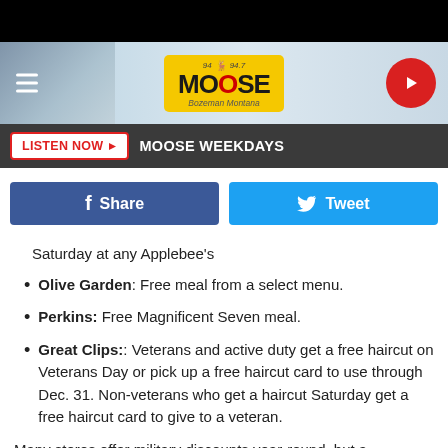[Figure (screenshot): Website header with Moose 94.7 radio station logo on yellow background, hamburger menu icon, mountain snow background image, and red circular play button on right]
LISTEN NOW ▶  MOOSE WEEKDAYS
[Figure (infographic): Facebook Share button (dark blue) and Twitter Tweet button (light blue) side by side]
Saturday at any Applebee's
Olive Garden: Free meal from a select menu.
Perkins: Free Magnificent Seven meal.
Great Clips:: Veterans and active duty get a free haircut on Veterans Day or pick up a free haircut card to use through Dec. 31. Non-veterans who get a haircut Saturday get a free haircut card to give to a veteran.
Many stores offer military discounts year-round, but a